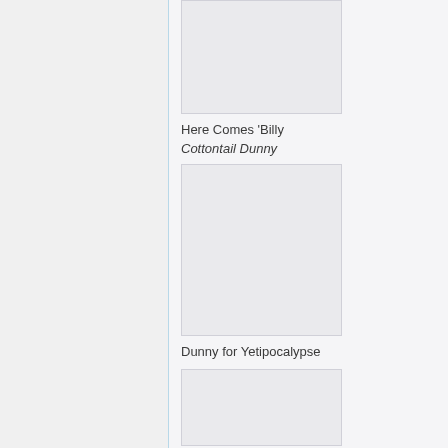[Figure (photo): Placeholder image box, light gray rectangle at top of content area]
Here Comes 'Billy Cottontail Dunny
[Figure (photo): Placeholder image box, light gray rectangle, middle of content area]
Dunny for Yetipocalypse
[Figure (photo): Placeholder image box, light gray rectangle, bottom of content area (partially visible)]